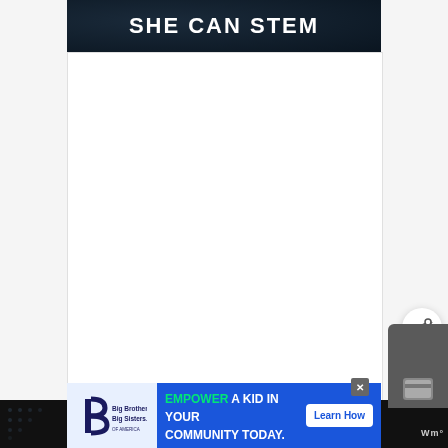SHE CAN STEM
[Figure (other): Large white/blank content area below the SHE CAN STEM header banner]
[Figure (other): Advertisement banner: Big Brothers Big Sisters logo on left, blue background with text EMPOWER A KID IN YOUR COMMUNITY TODAY. and a Learn How button on the right]
[Figure (other): Share icon button (circular) in the lower right area]
[Figure (other): Wallet/card app UI element in bottom right corner with Wm° text]